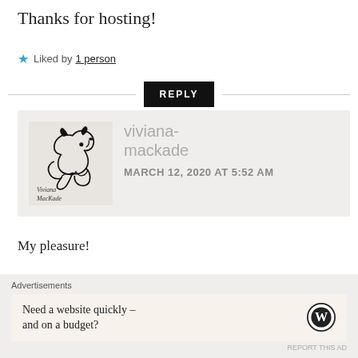Thanks for hosting!
★ Liked by 1 person
REPLY
[Figure (logo): Wolf howling logo with cursive text 'Viviana MacKade']
viviana-mackade
MARCH 12, 2020 AT 5:52 AM
My pleasure!
★ Like
Advertisements
Need a website quickly – and on a budget?